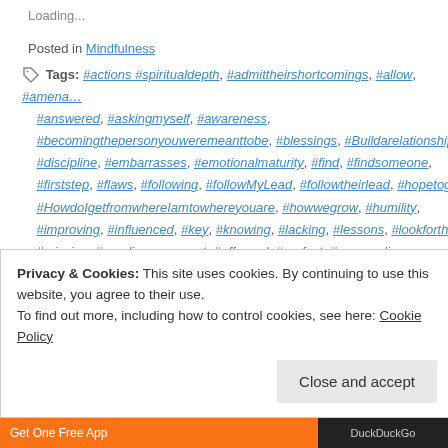Loading...
Posted in Mindfulness
Tags: #actions #spiritualdepth, #admittheirshortcomings, #allow, #amena... #answered, #askingmyself, #awareness, #becomingthepersonyouweremeanttobe, #blessings, #Buildarelationship... #discipline, #embarrasses, #emotionalmaturity, #find, #findsomeone, #firststep, #flaws, #following, #followMyLead, #followtheirlead, #hopetog... #HowdoIgetfromwhereIamtowhereyouare, #howwegrow, #humility, #improving, #influenced, #key, #knowing, #lacking, #lessons, #lookforthe... #missing, #needimprovement, #offguard, #perfect, #personalimprove... #possesses, #qualities, #question, #recognize, #shames, #soaking, #strengths, #teachus, #thewannabesaint.com, #weaknesses, #weconne...
Privacy & Cookies: This site uses cookies. By continuing to use this website, you agree to their use.
To find out more, including how to control cookies, see here: Cookie Policy
Close and accept